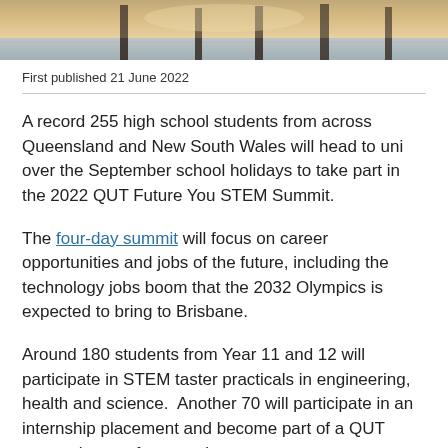[Figure (photo): Partial view of what appears to be a flooded or reflective surface with pillars/posts, warm amber/golden tones at top of page]
First published 21 June 2022
A record 255 high school students from across Queensland and New South Wales will head to uni over the September school holidays to take part in the 2022 QUT Future You STEM Summit.
The four-day summit will focus on career opportunities and jobs of the future, including the technology jobs boom that the 2032 Olympics is expected to bring to Brisbane.
Around 180 students from Year 11 and 12 will participate in STEM taster practicals in engineering, health and science.  Another 70 will participate in an internship placement and become part of a QUT research team for a week.
All students will also attend conference-style sessions